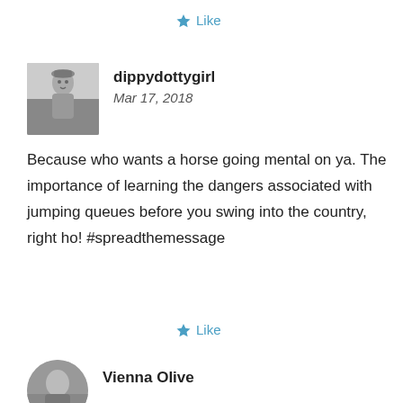Like
dippydottygirl
Mar 17, 2018
[Figure (photo): Black and white profile photo of a young girl]
Because who wants a horse going mental on ya. The importance of learning the dangers associated with jumping queues before you swing into the country, right ho! #spreadthemessage
Like
Vienna Olive
[Figure (photo): Circular profile photo of Vienna Olive]